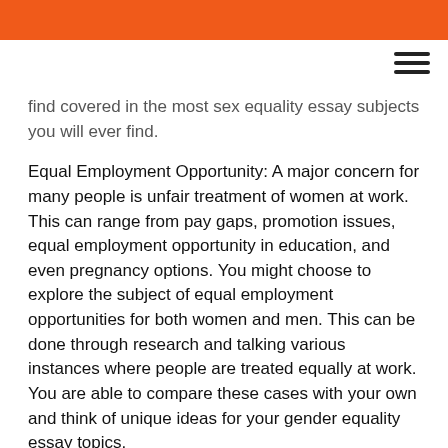find covered in the most sex equality essay subjects you will ever find.
Equal Employment Opportunity: A major concern for many people is unfair treatment of women at work. This can range from pay gaps, promotion issues, equal employment opportunity in education, and even pregnancy options. You might choose to explore the subject of equal employment opportunities for both women and men. This can be done through research and talking various instances where people are treated equally at work. You are able to compare these cases with your own and think of unique ideas for your gender equality essay topics.
Intense Educational Disadvantage: This can be one of the